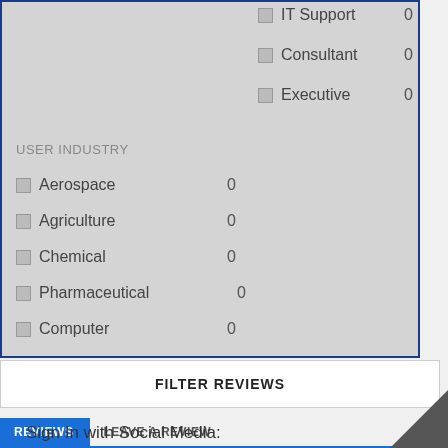USER INDUSTRY
IT Support  0
Consultant  0
Executive  0
Aerospace  0
Agriculture  0
Chemical  0
Pharmaceutical  0
Computer  0
FILTER REVIEWS
REVIEWS   LEAVE A REVIEW
Sign In with Social Media: